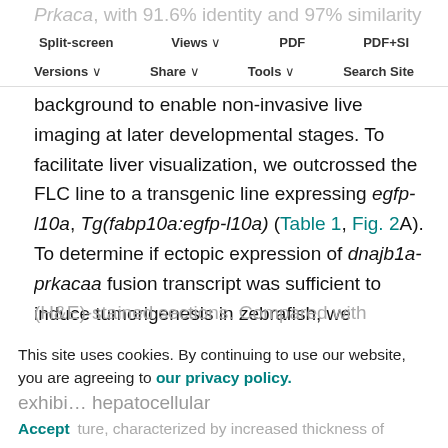Split-screen | Views | PDF | PDF+SI | Versions | Share | Tools | Search Site
Prkaca, with 91.6% identity and 97% similarity with its human counterpart (Fig. ). Using the Tol2 transposable system, we generated a stable line, Tg(fabp10a:dnajb1a-prkacaa_cryaa:Cerullean), in the pigment-deficient Casper background to enable non-invasive live imaging at later developmental stages. To facilitate liver visualization, we outcrossed the FLC line to a transgenic line expressing egfp-l10a, Tg(fabp10a:egfp-l10a) (Table 1, Fig. 2A). To determine if ectopic expression of dnajb1a-prkacaa fusion transcript was sufficient to induce tumorigenesis in zebrafish, we dissected livers from 8- and 12-month-old FLC and control fish and performed a blinded, conventional histopathological evaluation of Hematoxylin and Eosin (H&E)-stained sections. Compared with controls, FLC livers exhibited a hepatocellular carcinoma (HCC)-like hepatocellular architecture, characterized by increased thickness of hepatocyte cell plates and nuclear atypia. FLC livers
This site uses cookies. By continuing to use our website, you are agreeing to our privacy policy.
Accept